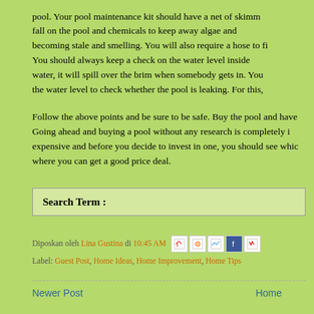pool. Your pool maintenance kit should have a net of skimm... fall on the pool and chemicals to keep away algae and becoming stale and smelling. You will also require a hose to fi... You should always keep a check on the water level inside water, it will spill over the brim when somebody gets in. You the water level to check whether the pool is leaking. For this,
Follow the above points and be sure to be safe. Buy the pool and have... Going ahead and buying a pool without any research is completely i... expensive and before you decide to invest in one, you should see whic... where you can get a good price deal.
Search Term :
Diposkan oleh Lina Gustina di 10:45 AM [share icons]
Label: Guest Post, Home Ideas, Home Improvement, Home Tips
Newer Post   Home